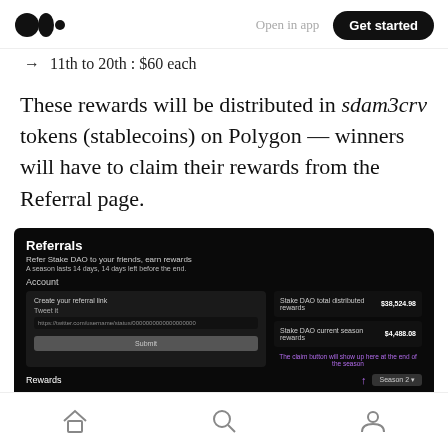Open in app | Get started
11th to 20th : $60 each
These rewards will be distributed in sdam3crv tokens (stablecoins) on Polygon — winners will have to claim their rewards from the Referral page.
[Figure (screenshot): Screenshot of a Referrals page from Stake DAO. Shows: 'Referrals' title, 'Refer Stake DAO to your friends, earn rewards', 'A season lasts 14 days, 14 days left before the end', Account section with referral link input and Tweet it button, right side showing 'Stake DAO total distributed rewards $38,524.98' and 'Stake DAO current season rewards $4,488.08', claim button note in purple, Rewards section with Season 2 dropdown.]
Home | Search | Profile